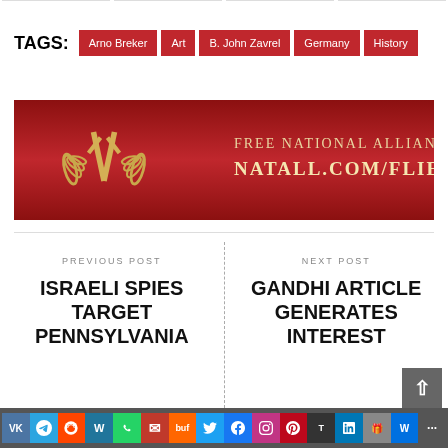TAGS: Arno Breker | Art | B. John Zavrel | Germany | History
[Figure (illustration): Red banner advertisement for 'FREE National Alliance fliers' with a gold emblem/logo on the left and text reading 'FREE NATIONAL ALLIANCE FLIERS NATALL.COM/FLIERS' on a red background]
PREVIOUS POST
ISRAELI SPIES TARGET PENNSYLVANIA
NEXT POST
GANDHI ARTICLE GENERATES INTEREST
Social sharing bar with icons: VK, Telegram, Reddit, WordPress, WhatsApp, Email, Buffer, Twitter, Facebook, Instagram, Pinterest, Tumblr, LinkedIn, Gift, Wix, More